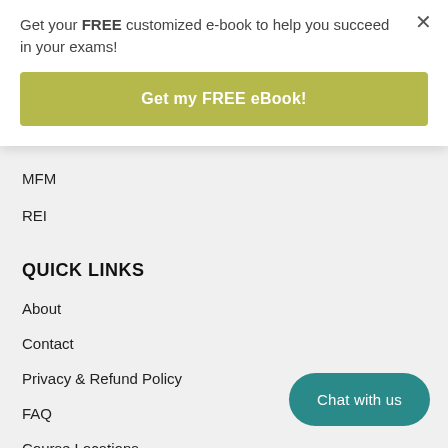Get your FREE customized e-book to help you succeed in your exams!
Get my FREE eBook!
MFM
REI
QUICK LINKS
About
Contact
Privacy & Refund Policy
FAQ
Course Locations
Chat with us